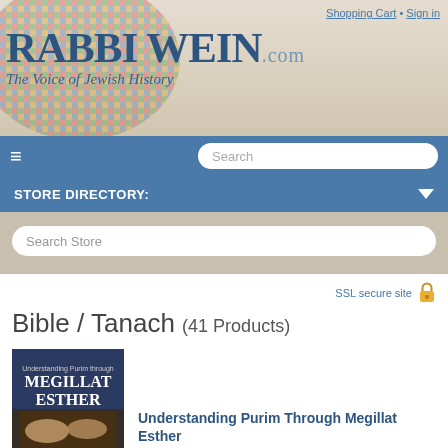Shopping Cart • Sign in
[Figure (logo): RabbiWein.com logo with colorful mosaic background and tagline 'The Voice of Jewish History']
Search
STORE DIRECTORY:
Search Store
SSL secure site
Bible / Tanach (41 Products)
[Figure (photo): Product image for 'Understanding Purim Through Megillat Esther' showing book/audio cover with text 'Understanding Purim through Megillat Esther' with Rabbi Wein branding]
Understanding Purim Through Megillat Esther